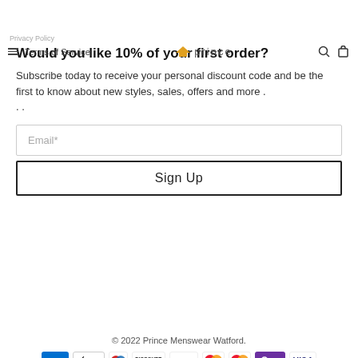Privacy Policy  Terms of Service  prince (logo)
Would you like 10% of your first order?
Subscribe today to receive your personal discount code and be the first to know about new styles, sales, offers and more . . .
Email*
Sign Up
© 2022 Prince Menswear Watford.
[Figure (other): Payment method icons: AMEX, Apple Pay, Diners Club, Discover, Google Pay, Mastercard (two variants), OPay, VISA]